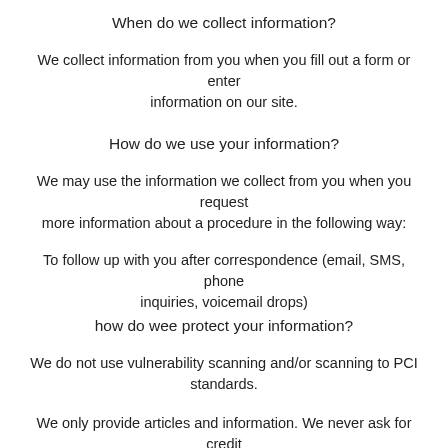When do we collect information?
We collect information from you when you fill out a form or enter information on our site.
How do we use your information?
We may use the information we collect from you when you request more information about a procedure in the following way:
To follow up with you after correspondence (email, SMS, phone inquiries, voicemail drops)
how do wee protect your information?
We do not use vulnerability scanning and/or scanning to PCI standards.
We only provide articles and information. We never ask for credit card numbers.
We use regular Malware Scanning.
What is a cookie?